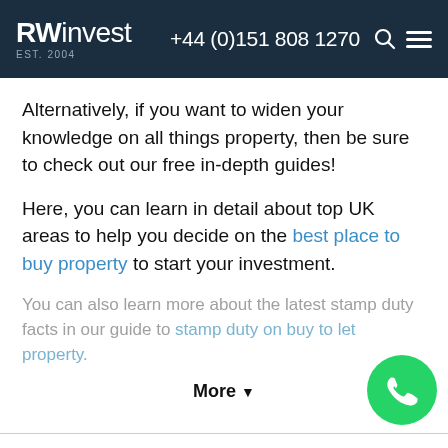RWinvest EST. 2004 | +44 (0)151 808 1270
Alternatively, if you want to widen your knowledge on all things property, then be sure to check out our free in-depth guides!
Here, you can learn in detail about top UK areas to help you decide on the best place to buy property to start your investment.
You can also learn more about the latest stamp duty facts in our guide to stamp duty on buy to let property.
More ▼